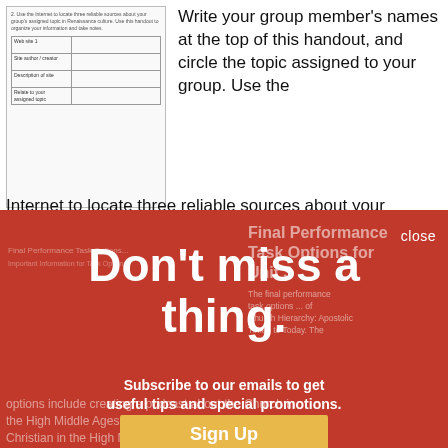[Figure (screenshot): Thumbnail of a worksheet with a small table having rows for 'Web site 1', 'Site author / creator', 'Description of site', 'Relate to your assigned topic']
Write your group member's names at the top of this handout, and circle the topic assigned to your group. Use the Internet to locate three reliable sources about your group's assigned topic in Renaissance culture. Use this handout to organize …
close
Don't miss a thing.
Subscribe to our emails to get useful tips and special promotions.
Sign Up
Final Performance Task Options for Unit 3
The final performance task options for Unit 3 Church Hierarchy: Apostolic Times to Today. The options include creating a podcast about the Church in the High Middle Ages, or creating a journal of a Christian in the High Middle …